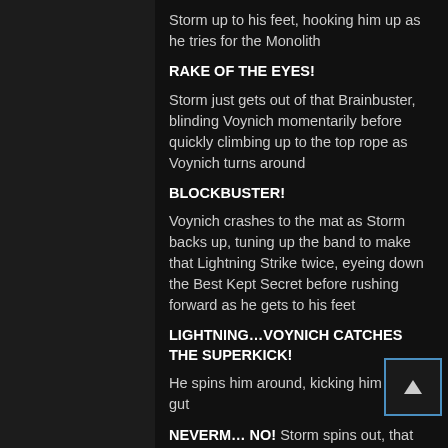Storm up to his feet, hooking him up as he tries for the Monolith
RAKE OF THE EYES!
Storm just gets out of that Brainbuster, blinding Voynich momentarily before quickly climbing up to the top rope as Voynich turns around
BLOCKBUSTER!
Voynich crashes to the mat as Storm backs up, tuning up the band to make that Lightning Strike twice, eyeing down the Best Kept Secret before rushing forward as he gets to his feet
LIGHTNING…VOYNICH CATCHES THE SUPERKICK!
He spins him around, kicking him in the gut
NEVERM… NO! Storm spins out, that cocky…